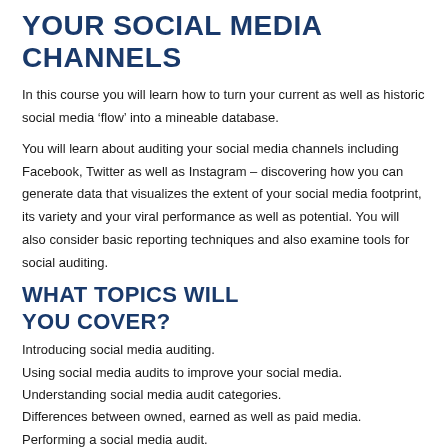YOUR SOCIAL MEDIA CHANNELS
In this course you will learn how to turn your current as well as historic social media ‘flow’ into a mineable database.
You will learn about auditing your social media channels including Facebook, Twitter as well as Instagram – discovering how you can generate data that visualizes the extent of your social media footprint, its variety and your viral performance as well as potential. You will also consider basic reporting techniques and also examine tools for social auditing.
WHAT TOPICS WILL YOU COVER?
Introducing social media auditing.
Using social media audits to improve your social media.
Understanding social media audit categories.
Differences between owned, earned as well as paid media.
Performing a social media audit.
Social media audit templates.
Tools as well as metrics for social media audits.